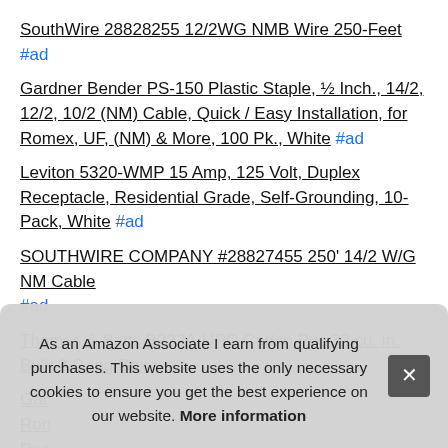SouthWire 28828255 12/2WG NMB Wire 250-Feet #ad
Gardner Bender PS-150 Plastic Staple, ½ Inch., 14/2, 12/2, 10/2 (NM) Cable, Quick / Easy Installation, for Romex, UF, (NM) & More, 100 Pk., White #ad
Leviton 5320-WMP 15 Amp, 125 Volt, Duplex Receptacle, Residential Grade, Self-Grounding, 10-Pack, White #ad
SOUTHWIRE COMPANY #28827455 250' 14/2 W/G NM Cable #ad
Thomas & Betts B232A-UPC Carlon Pvc 32 cu. in. Bulk 2 Gang Box #ad
Gar... Ron... Res...
Levi... Residential Grade, Self-Grounding, 10-Pack, Ivory #ad
As an Amazon Associate I earn from qualifying purchases. This website uses the only necessary cookies to ensure you get the best experience on our website. More information